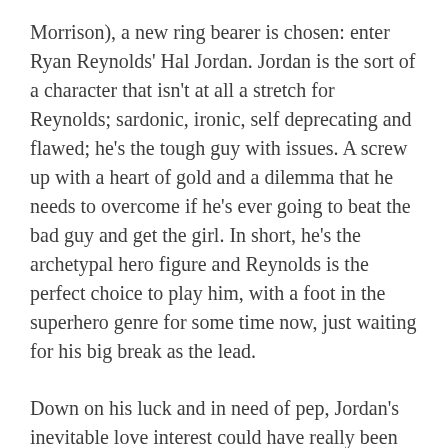Morrison), a new ring bearer is chosen: enter Ryan Reynolds' Hal Jordan. Jordan is the sort of a character that isn't at all a stretch for Reynolds; sardonic, ironic, self deprecating and flawed; he's the tough guy with issues. A screw up with a heart of gold and a dilemma that he needs to overcome if he's ever going to beat the bad guy and get the girl. In short, he's the archetypal hero figure and Reynolds is the perfect choice to play him, with a foot in the superhero genre for some time now, just waiting for his big break as the lead.
Down on his luck and in need of pep, Jordan's inevitable love interest could have really been anyone with good looks and the ability to play forlorn and disappointed. The almost two dimensional nature of the role is filled out nicely by Blake Lively, but again there is nothing to stretch her or make her Carol Ferris character at all 3D or interesting. Her one promising rant is swiftly glazed over and she's quickly sidelined to plot device territory